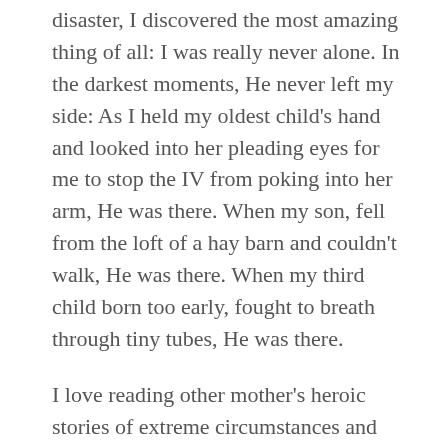disaster, I discovered the most amazing thing of all: I was really never alone. In the darkest moments, He never left my side: As I held my oldest child's hand and looked into her pleading eyes for me to stop the IV from poking into her arm, He was there. When my son, fell from the loft of a hay barn and couldn't walk, He was there. When my third child born too early, fought to breath through tiny tubes, He was there.
I love reading other mother's heroic stories of extreme circumstances and mundane living. They make me feel normal. It is comforting to identify my